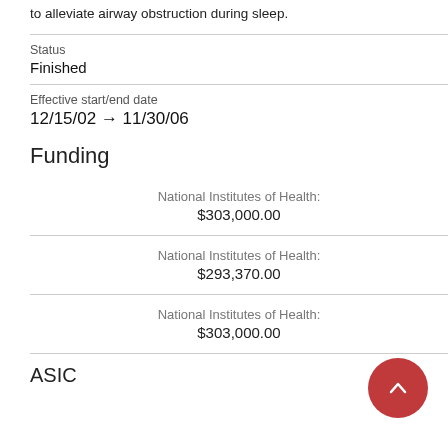to alleviate airway obstruction during sleep.
Status
Finished
Effective start/end date
12/15/02 → 11/30/06
Funding
National Institutes of Health:
$303,000.00
National Institutes of Health:
$293,370.00
National Institutes of Health:
$303,000.00
ASIC